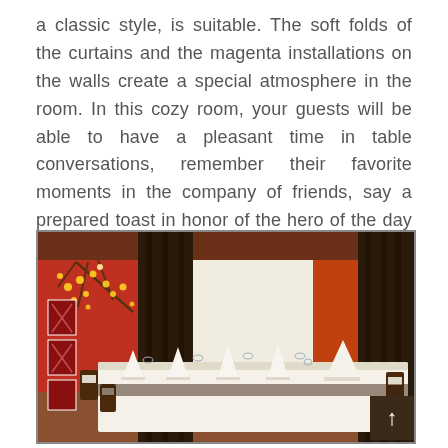a classic style, is suitable. The soft folds of the curtains and the magenta installations on the walls create a special atmosphere in the room. In this cozy room, your guests will be able to have a pleasant time in table conversations, remember their favorite moments in the company of friends, say a prepared toast in honor of the hero of the day or the newlyweds.
[Figure (photo): Interior of a private dining room with a long banquet table set with white tablecloths, folded white napkins, and glassware. Dark brown curtains hang on the windows, with an orange/red accent wall. A decorative branch with warm lights is visible on the left wall along with wall art panels. Brown chairs with white sashes line the table. A scroll-to-top button is in the bottom right corner.]